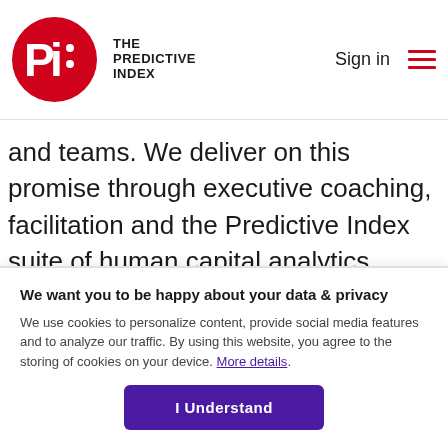THE PREDICTIVE INDEX — Sign in
and teams. We deliver on this promise through executive coaching, facilitation and the Predictive Index suite of human capital analytics. These tools allow our clients to optimize talent and align their people strategy to their business strategy.
We want you to be happy about your data & privacy
We use cookies to personalize content, provide social media features and to analyze our traffic. By using this website, you agree to the storing of cookies on your device. More details.
I Understand